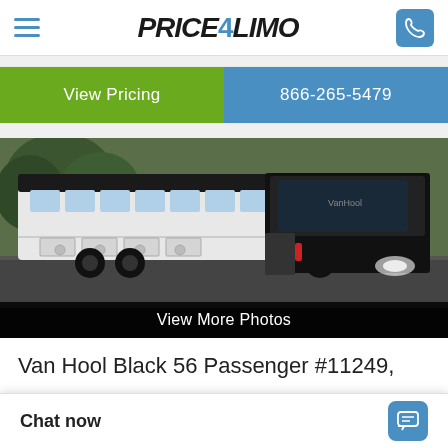Price4Limo — View Pricing | 866-265-5479
[Figure (photo): Van Hool Black 56 Passenger motor coach bus parked in a lot, side and front view showing white body with black roof and luggage compartments]
View More Photos
Van Hool Black 56 Passenger #11249,
Chat now